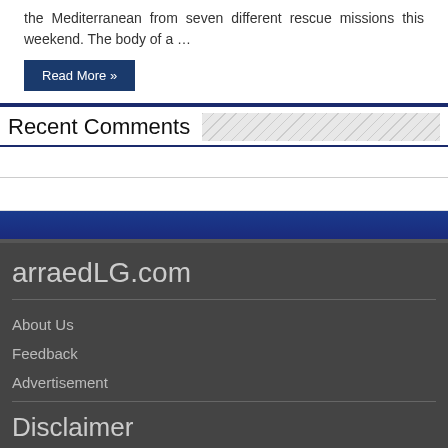the Mediterranean from seven different rescue missions this weekend. The body of a …
Read More »
Recent Comments
arraedLG.com
About Us
Feedback
Advertisement
Disclaimer
This demo site is only for demonstration purposes. All images are